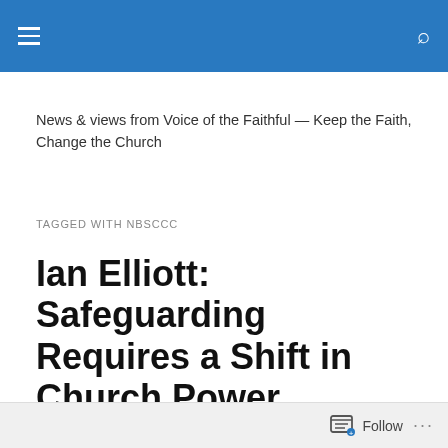Voice of the Faithful — navigation header bar
News & views from Voice of the Faithful — Keep the Faith, Change the Church
TAGGED WITH NBSCCC
Ian Elliott: Safeguarding Requires a Shift in Church Power Balance
In his latest Blog Ian Elliott writes:
Follow ...